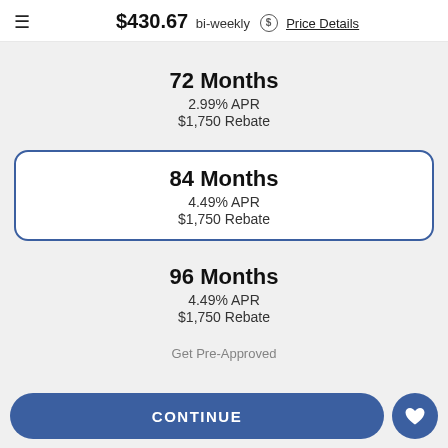$430.67 bi-weekly $ Price Details
72 Months
2.99% APR
$1,750 Rebate
84 Months
4.49% APR
$1,750 Rebate
96 Months
4.49% APR
$1,750 Rebate
CONTINUE